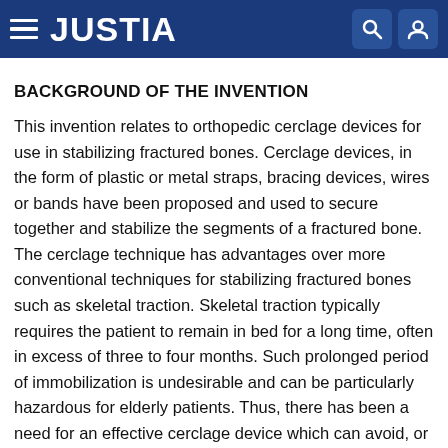JUSTIA
BACKGROUND OF THE INVENTION
This invention relates to orthopedic cerclage devices for use in stabilizing fractured bones. Cerclage devices, in the form of plastic or metal straps, bracing devices, wires or bands have been proposed and used to secure together and stabilize the segments of a fractured bone. The cerclage technique has advantages over more conventional techniques for stabilizing fractured bones such as skeletal traction. Skeletal traction typically requires the patient to remain in bed for a long time, often in excess of three to four months. Such prolonged period of immobilization is undesirable and can be particularly hazardous for elderly patients. Thus, there has been a need for an effective cerclage device which can avoid, or at least reduce, the requirement for skeletal traction. Although a number of cerclage devices